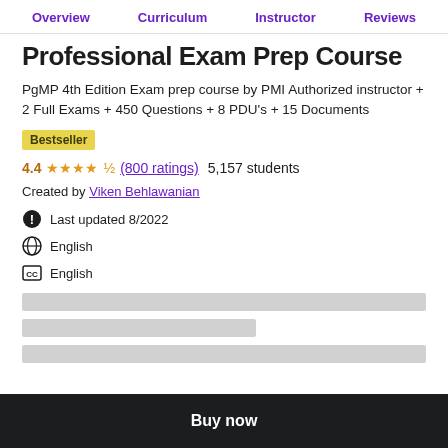Overview  Curriculum  Instructor  Reviews
Professional Exam Prep Course
PgMP 4th Edition Exam prep course by PMI Authorized instructor + 2 Full Exams + 450 Questions + 8 PDU's + 15 Documents
Bestseller
4.4 ★★★★½ (800 ratings)  5,157 students
Created by Viken Behlawanian
Last updated 8/2022
English
English
Buy now